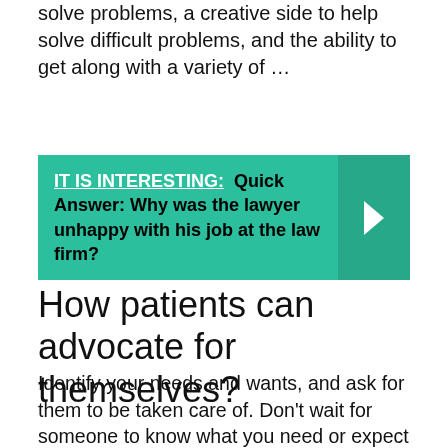solve problems, a creative side to help solve difficult problems, and the ability to get along with a variety of …
IT IS INTERESTING:  Quick Answer: Why was the lawyer unhappy with his job at the law firm?
How patients can advocate for themselves?
Identify your needs and wants, and ask for them to be taken care of. Don't wait for someone to know what you need or expect others to advocate for you. Come up with ideas about how you can get your needs met while respecting other's time and abilities.